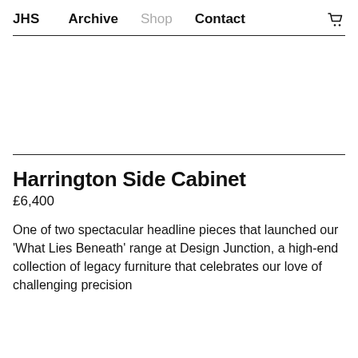JHS   Archive   Shop   Contact
Harrington Side Cabinet
£6,400
One of two spectacular headline pieces that launched our 'What Lies Beneath' range at Design Junction, a high-end collection of legacy furniture that celebrates our love of challenging precision